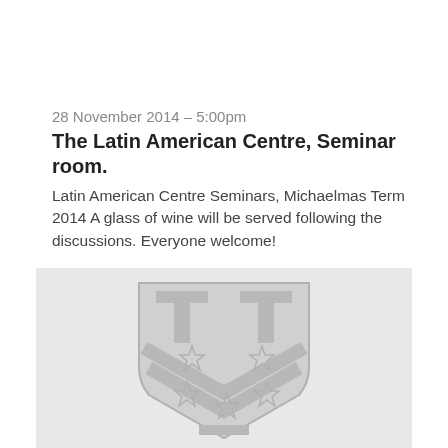28 November 2014 – 5:00pm
The Latin American Centre, Seminar room.
Latin American Centre Seminars, Michaelmas Term 2014 A glass of wine will be served following the discussions. Everyone welcome!
[Figure (logo): Oxford University coat of arms / shield crest in light grey on grey background, featuring two T shapes and stars on a chevron pattern]